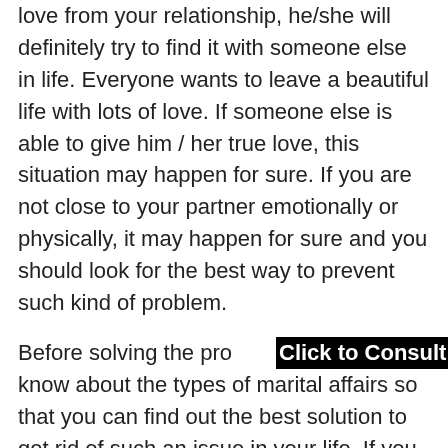love from your relationship, he/she will definitely try to find it with someone else in life. Everyone wants to leave a beautiful life with lots of love. If someone else is able to give him / her true love, this situation may happen for sure. If you are not close to your partner emotionally or physically, it may happen for sure and you should look for the best way to prevent such kind of problem.
Before solving the pro[Click to Consult on Whatsapp] know about the types of marital affairs so that you can find out the best solution to get rid of such an issue in your life. If you know about the external affair of your partner, it may Break Your Heart completely and you will definitely feel sadness and depression in your life. In such kind of situation, you have to handle the situation in a proper way because you want him/her back in your life to get true love.